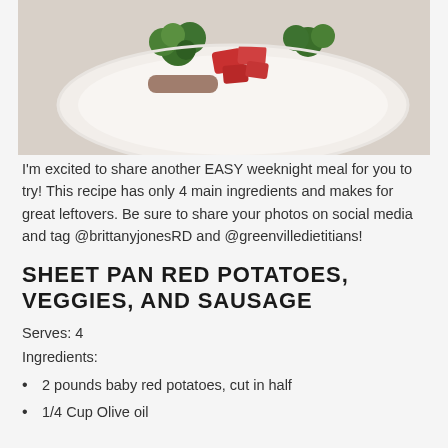[Figure (photo): Overhead photo of a plate with roasted vegetables including broccoli and red peppers, set on a white textured plate against a light background]
I'm excited to share another EASY weeknight meal for you to try! This recipe has only 4 main ingredients and makes for great leftovers. Be sure to share your photos on social media and tag @brittanyjonesRD and @greenvilledietitians!
SHEET PAN RED POTATOES, VEGGIES, AND SAUSAGE
Serves: 4
Ingredients:
2 pounds baby red potatoes, cut in half
1/4 Cup Olive oil